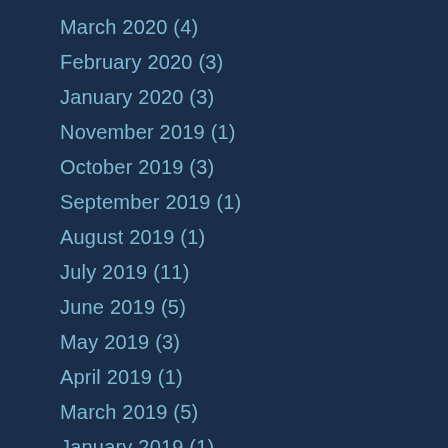March 2020 (4)
February 2020 (3)
January 2020 (3)
November 2019 (1)
October 2019 (3)
September 2019 (1)
August 2019 (1)
July 2019 (11)
June 2019 (5)
May 2019 (3)
April 2019 (1)
March 2019 (5)
January 2019 (1)